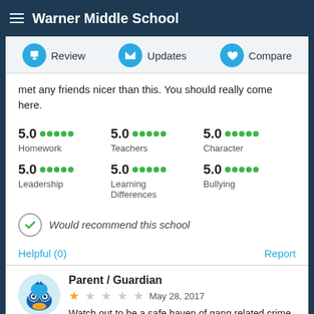Warner Middle School
Review  Updates  Compare
met any friends nicer than this. You should really come here.
5.0 Homework  5.0 Teachers  5.0 Character  5.0 Leadership  5.0 Learning Differences  5.0 Bullying
Would recommend this school
Helpful (0)  Report
Parent / Guardian  May 28, 2017  Watch out to be a safe haven of gang related crime.